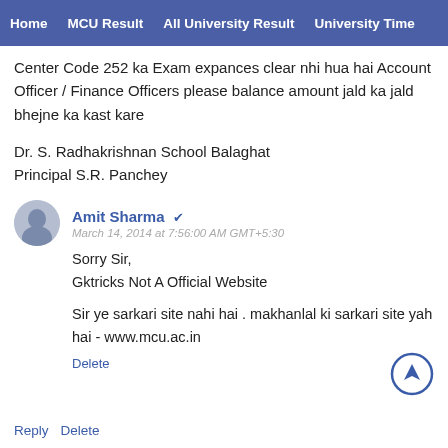Home | MCU Result | All University Result | University Time
Center Code 252 ka Exam expances clear nhi hua hai Account Officer / Finance Officers please balance amount jald ka jald bhejne ka kast kare
Dr. S. Radhakrishnan School Balaghat
Principal S.R. Panchey
Amit Sharma ✓
March 14, 2014 at 7:56:00 AM GMT+5:30
Sorry Sir,
Gktricks Not A Official Website

Sir ye sarkari site nahi hai . makhanlal ki sarkari site yah hai - www.mcu.ac.in
Delete
Reply Delete